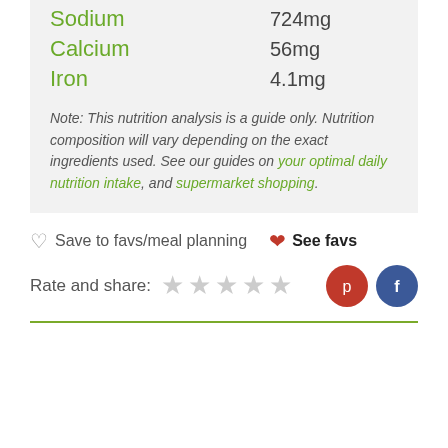| Sodium | 724mg |
| Calcium | 56mg |
| Iron | 4.1mg |
Note: This nutrition analysis is a guide only. Nutrition composition will vary depending on the exact ingredients used. See our guides on your optimal daily nutrition intake, and supermarket shopping.
Save to favs/meal planning  See favs
Rate and share: